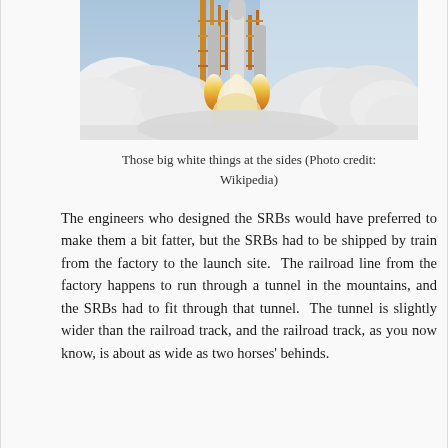[Figure (photo): Rocket launch with large white solid rocket boosters (SRBs) producing massive white smoke clouds at the sides, with bright orange flames and launch structure visible]
Those big white things at the sides (Photo credit: Wikipedia)
The engineers who designed the SRBs would have preferred to make them a bit fatter, but the SRBs had to be shipped by train from the factory to the launch site.  The railroad line from the factory happens to run through a tunnel in the mountains, and the SRBs had to fit through that tunnel.  The tunnel is slightly wider than the railroad track, and the railroad track, as you now know, is about as wide as two horses' behinds.